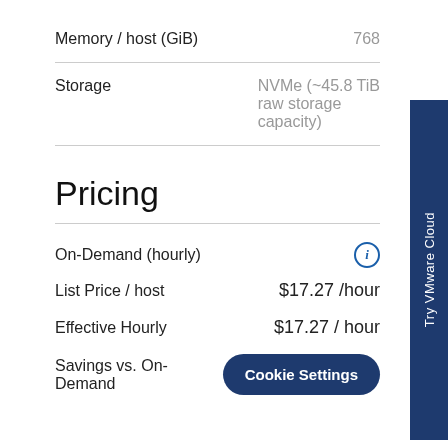| Property | Value |
| --- | --- |
| Memory / host (GiB) | 768 |
| Storage | NVMe (~45.8 TiB raw storage capacity) |
Pricing
| Property | Value |
| --- | --- |
| On-Demand (hourly) |  |
| List Price / host | $17.27 /hour |
| Effective Hourly | $17.27 / hour |
| Savings vs. On-Demand | Cookie Settings |